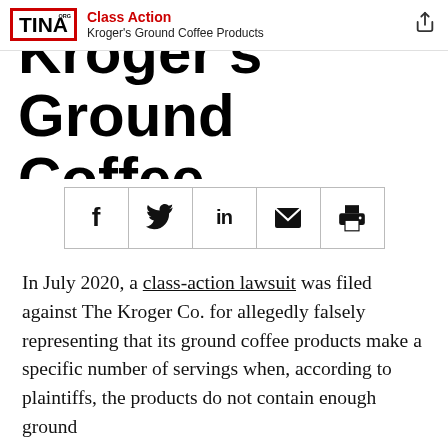Class Action | Kroger's Ground Coffee Products
Kroger's Ground Coffee Products
[Figure (other): Social sharing buttons row: Facebook (f), Twitter (bird), LinkedIn (in), Email (envelope), Print (printer)]
In July 2020, a class-action lawsuit was filed against The Kroger Co. for allegedly falsely representing that its ground coffee products make a specific number of servings when, according to plaintiffs, the products do not contain enough ground